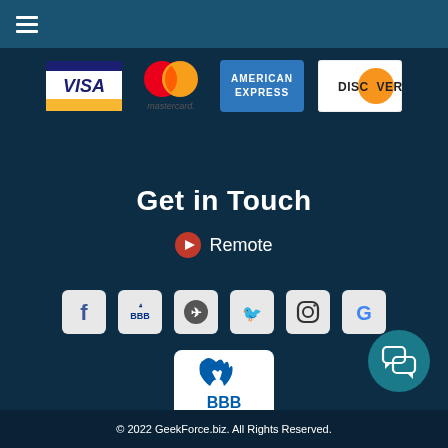Navigation menu bar with hamburger icon
[Figure (logo): Payment method logos: Visa, Mastercard, American Express, Discover]
Get in Touch
Remote
[Figure (infographic): Social media icons: Facebook, BBB, Thumbtack, Twitter, Instagram, Google]
[Figure (logo): BBB Accredited Business badge, Rating: A+]
Rating: A+
© 2022 GeekForce.biz. All Rights Reserved.